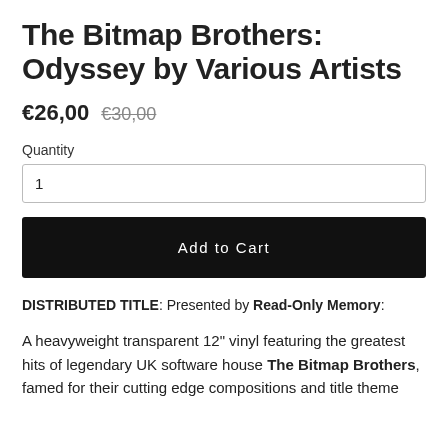The Bitmap Brothers: Odyssey by Various Artists
€26,00  €30,00
Quantity
1
Add to Cart
DISTRIBUTED TITLE: Presented by Read-Only Memory:
A heavyweight transparent 12" vinyl featuring the greatest hits of legendary UK software house The Bitmap Brothers, famed for their cutting edge compositions and title theme